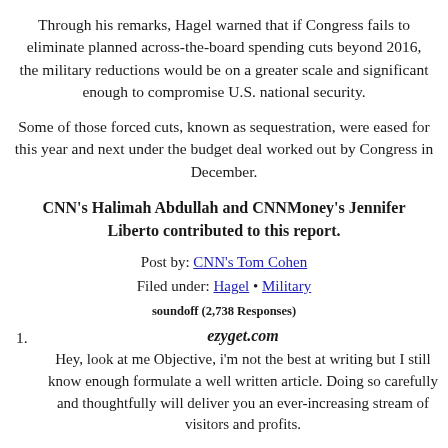Through his remarks, Hagel warned that if Congress fails to eliminate planned across-the-board spending cuts beyond 2016, the military reductions would be on a greater scale and significant enough to compromise U.S. national security.
Some of those forced cuts, known as sequestration, were eased for this year and next under the budget deal worked out by Congress in December.
CNN's Halimah Abdullah and CNNMoney's Jennifer Liberto contributed to this report.
Post by: CNN's Tom Cohen
Filed under: Hagel • Military
soundoff (2,738 Responses)
1. ezyget.com
Hey, look at me Objective, i'm not the best at writing but I still know enough formulate a well written article. Doing so carefully and thoughtfully will deliver you an ever-increasing stream of visitors and profits.